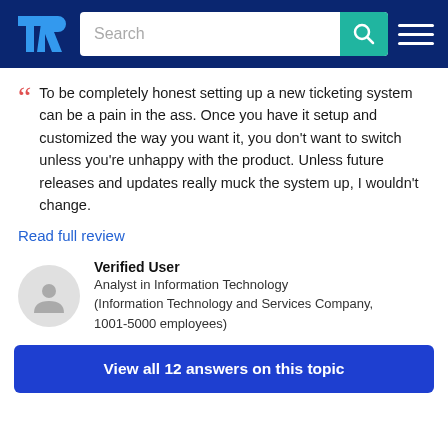TrustRadius — Search bar with logo and navigation
To be completely honest setting up a new ticketing system can be a pain in the ass. Once you have it setup and customized the way you want it, you don't want to switch unless you're unhappy with the product. Unless future releases and updates really muck the system up, I wouldn't change.
Read full review
Verified User
Analyst in Information Technology (Information Technology and Services Company, 1001-5000 employees)
View all 12 answers on this topic